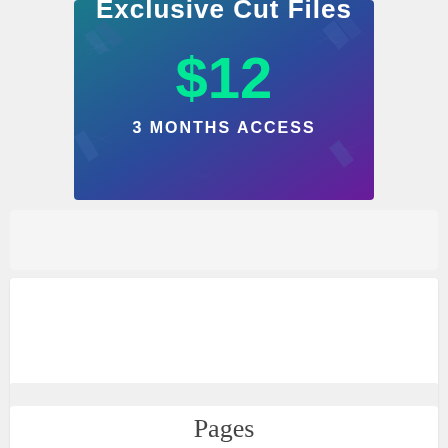[Figure (illustration): Promotional banner with dark teal-to-purple gradient background, scissor and cut file icons. White bold text 'Exclusive Cut Files', large green text '$12', white bold text '3 MONTHS ACCESS'.]
Pages